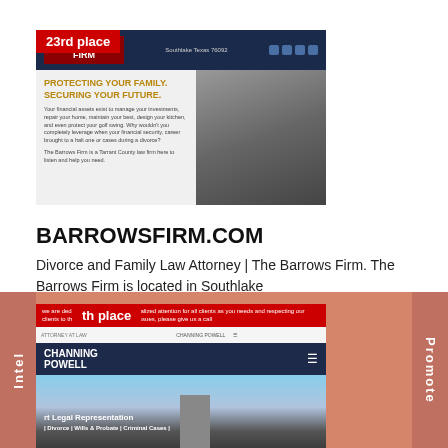[Figure (screenshot): Screenshot of BarrowsFirm.com website with '23rd place' badge. Shows navy header with law firm logo and social icons, and content section with 'PROTECTING YOUR FAMILY. SECURING YOUR FUTURE.' headline in gold, body text, and photo of two women attorneys.]
BARROWSFIRM.COM
Divorce and Family Law Attorney | The Barrows Firm. The Barrows Firm is located in Southlake
[Figure (screenshot): Screenshot of McPowellLaw.com website with 'th place' badge (partially visible). Shows red banner text, navigation bar, Channing Powell logo on dark navy header, and background photo of a lighthouse with 'Expert Legal Representation' text.]
MCPOWELLLAW.COM
orce and Family Law Attorney – Gulfport MS. Gulfport